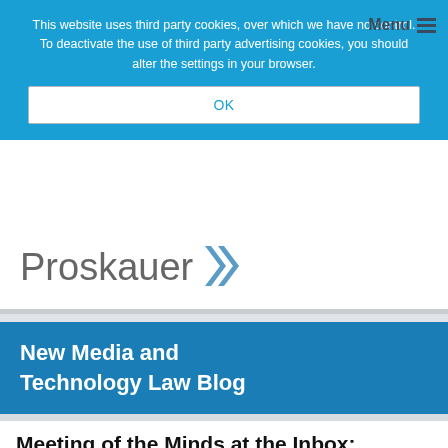This website uses third party cookies, over which we have no control. To deactivate the use of third party advertising cookies, you should alter the settings in your browser.
OK
Menu
[Figure (logo): Proskauer logo with double chevron arrows in blue/gray]
New Media and Technology Law Blog
Meeting of the Minds at the Inbox: Some Pitfalls of Contracting via